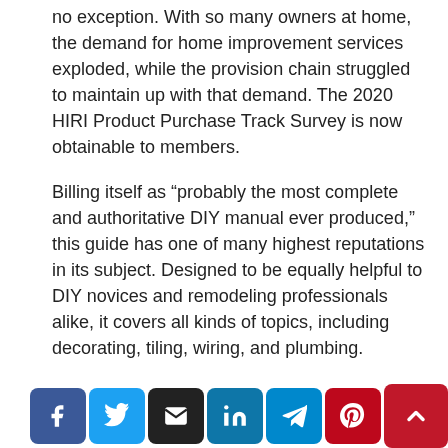no exception. With so many owners at home, the demand for home improvement services exploded, while the provision chain struggled to maintain up with that demand. The 2020 HIRI Product Purchase Track Survey is now obtainable to members.
Billing itself as “probably the most complete and authoritative DIY manual ever produced,” this guide has one of many highest reputations in its subject. Designed to be equally helpful to DIY novices and remodeling professionals alike, it covers all kinds of topics, including decorating, tiling, wiring, and plumbing.
[Figure (other): Social sharing buttons: Facebook, Twitter, Email, LinkedIn, Telegram, Pinterest, and a scroll-to-top button]